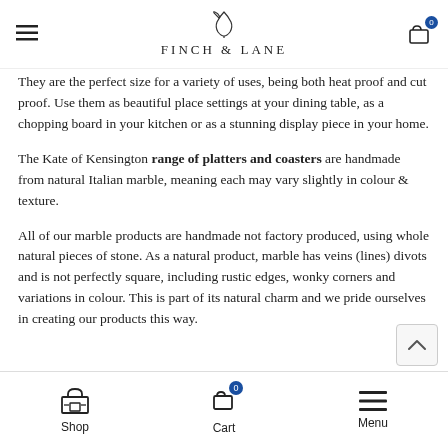FINCH & LANE
They are the perfect size for a variety of uses, being both heat proof and cut proof. Use them as beautiful place settings at your dining table, as a chopping board in your kitchen or as a stunning display piece in your home.
The Kate of Kensington range of platters and coasters are handmade from natural Italian marble, meaning each may vary slightly in colour & texture.
All of our marble products are handmade not factory produced, using whole natural pieces of stone. As a natural product, marble has veins (lines) divots and is not perfectly square, including rustic edges, wonky corners and variations in colour. This is part of its natural charm and we pride ourselves in creating our products this way.
Shop  Cart  Menu